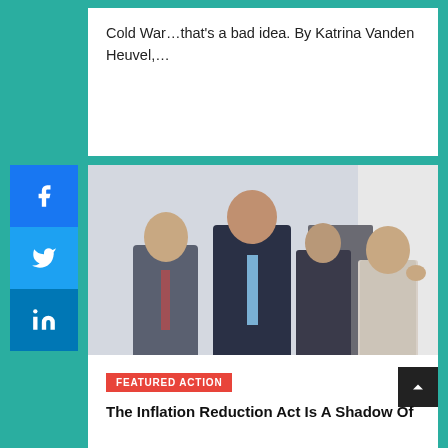Cold War…that's a bad idea. By Katrina Vanden Heuvel,…
[Figure (photo): Four people in formal attire walking together, appears to be congressional leaders outside a building with white columns]
FEATURED ACTION
The Inflation Reduction Act Is A Shadow Of